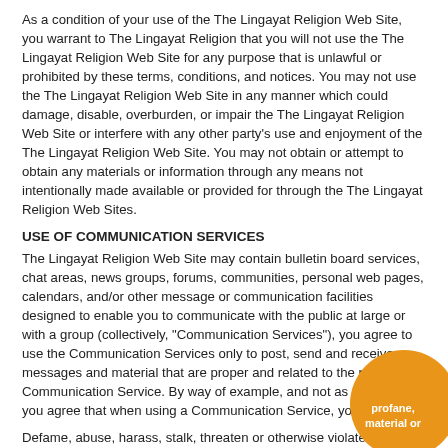As a condition of your use of the The Lingayat Religion Web Site, you warrant to The Lingayat Religion that you will not use the The Lingayat Religion Web Site for any purpose that is unlawful or prohibited by these terms, conditions, and notices. You may not use the The Lingayat Religion Web Site in any manner which could damage, disable, overburden, or impair the The Lingayat Religion Web Site or interfere with any other party's use and enjoyment of the The Lingayat Religion Web Site. You may not obtain or attempt to obtain any materials or information through any means not intentionally made available or provided for through the The Lingayat Religion Web Sites.
USE OF COMMUNICATION SERVICES
The Lingayat Religion Web Site may contain bulletin board services, chat areas, news groups, forums, communities, personal web pages, calendars, and/or other message or communication facilities designed to enable you to communicate with the public at large or with a group (collectively, "Communication Services"), you agree to use the Communication Services only to post, send and receive messages and material that are proper and related to the particular Communication Service. By way of example, and not as a limitation, you agree that when using a Communication Service, you will not:
Defame, abuse, harass, stalk, threaten or otherwise violate the legal rights (such as rights of privacy and publicity) of others.
Publish, post, upload, distribute or disseminate any inappropriate, profane, defamatory, infringing, obscene, indecent or unlawful topic, name, material or information.
Upload files that contain software or other material protected by intellectual